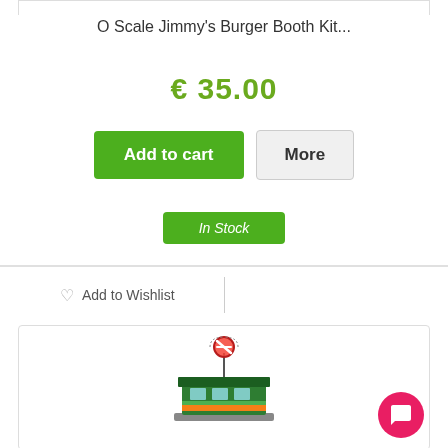O Scale Jimmy's Burger Booth Kit...
€ 35.00
Add to cart
More
In Stock
Add to Wishlist
[Figure (photo): 3D rendered model of O Scale Jimmy's Burger Booth Kit - a small green food stand with a rotating burger sign on top]